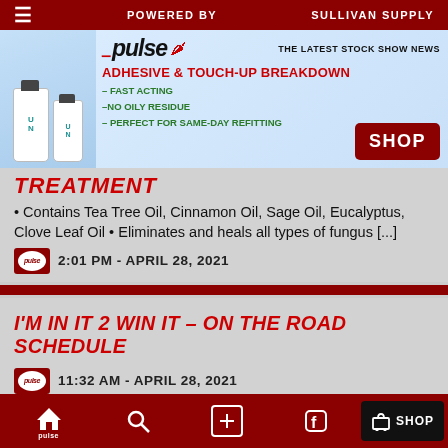POWERED BY   SULLIVAN SUPPLY
[Figure (screenshot): Pulse by Sullivan Supply advertisement banner showing UnderFur products and Adhesive & Touch-Up Breakdown promotion with SHOP button]
TREATMENT
• Contains Tea Tree Oil, Cinnamon Oil, Sage Oil, Eucalyptus, Clove Leaf Oil • Eliminates and heals all types of fungus [...]
2:01 PM - APRIL 28, 2021
I'M IN IT 2 WIN IT – ON THE ROAD SCHEDULE
11:32 AM - APRIL 28, 2021
pulse  [search]  [+]  [facebook]  SHOP